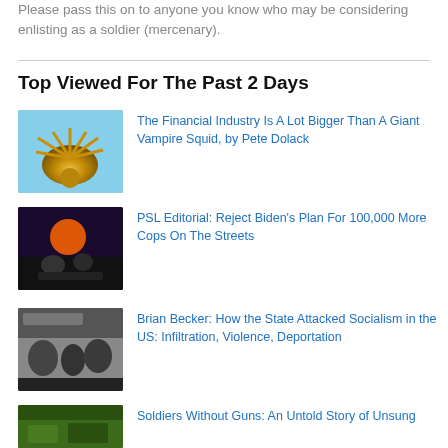Please pass this on to anyone you know who may be considering enlisting as a soldier (mercenary).
Top Viewed For The Past 2 Days
The Financial Industry Is A Lot Bigger Than A Giant Vampire Squid, by Pete Dolack
PSL Editorial: Reject Biden’s Plan For 100,000 More Cops On The Streets
Brian Becker: How the State Attacked Socialism in the US: Infiltration, Violence, Deportation
Soldiers Without Guns: An Untold Story of Unsung